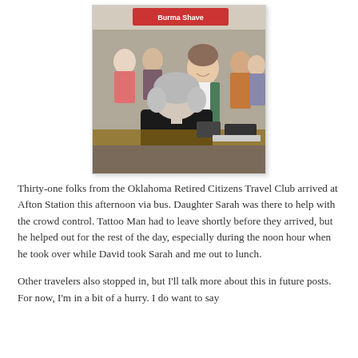[Figure (photo): Indoor photo showing people at a counter/register area. A woman with gray hair faces away from the camera in the foreground (wearing black). Across the counter stands a smiling woman in a white shirt and green cardigan. Several other people are visible in the background in a crowded room. A sign reading 'Burma Shave' is visible at the top.]
Thirty-one folks from the Oklahoma Retired Citizens Travel Club arrived at Afton Station this afternoon via bus. Daughter Sarah was there to help with the crowd control. Tattoo Man had to leave shortly before they arrived, but he helped out for the rest of the day, especially during the noon hour when he took over while David took Sarah and me out to lunch.
Other travelers also stopped in, but I'll talk more about this in future posts. For now, I'm in a bit of a hurry. I do want to say